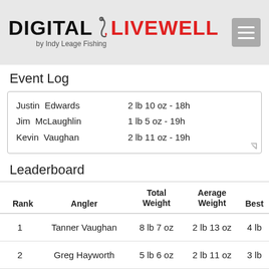DIGITAL LIVEWELL by Indy Leage Fishing
Event Log
Justin  Edwards    2 lb 10 oz - 18h
Jim  McLaughlin    1 lb 5 oz - 19h
Kevin  Vaughan    2 lb 11 oz - 19h
Leaderboard
| Rank | Angler | Total Weight | Aerage Weight | Best |
| --- | --- | --- | --- | --- |
| 1 | Tanner Vaughan | 8 lb 7 oz | 2 lb 13 oz | 4 lb |
| 2 | Greg Hayworth | 5 lb 6 oz | 2 lb 11 oz | 3 lb |
| 3 | Kevin Vaughan | 2 lb 11 oz | 2 lb 11 oz | 2 lb |